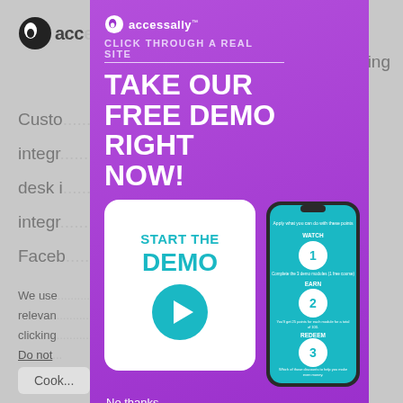[Figure (screenshot): Background website screenshot showing AccessAlly branding and partial text about custom integrations and help desk, with cookie consent notice at bottom.]
[Figure (infographic): Purple popup modal for AccessAlly demo. Contains logo, tagline 'CLICK THROUGH A REAL SITE', headline 'TAKE OUR FREE DEMO RIGHT NOW!', a white call-to-action box with 'START THE DEMO' and play button, a phone illustration showing Watch/Earn/Redeem steps, and 'No thanks' link.]